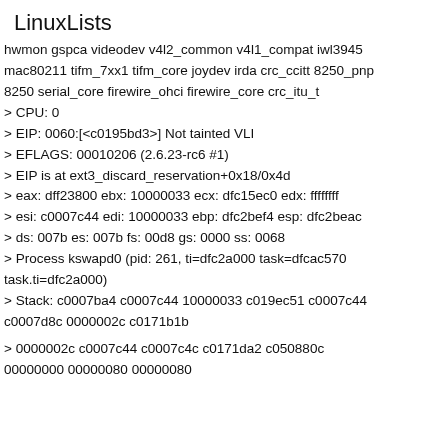LinuxLists
hwmon gspca videodev v4l2_common v4l1_compat iwl3945 mac80211 tifm_7xx1 tifm_core joydev irda crc_ccitt 8250_pnp 8250 serial_core firewire_ohci firewire_core crc_itu_t
> CPU: 0
> EIP: 0060:[<c0195bd3>] Not tainted VLI
> EFLAGS: 00010206 (2.6.23-rc6 #1)
> EIP is at ext3_discard_reservation+0x18/0x4d
> eax: dff23800 ebx: 10000033 ecx: dfc15ec0 edx: ffffffff
> esi: c0007c44 edi: 10000033 ebp: dfc2bef4 esp: dfc2beac
> ds: 007b es: 007b fs: 00d8 gs: 0000 ss: 0068
> Process kswapd0 (pid: 261, ti=dfc2a000 task=dfcac570 task.ti=dfc2a000)
> Stack: c0007ba4 c0007c44 10000033 c019ec51 c0007c44 c0007d8c 0000002c c0171b1b
> 0000002c c0007c44 c0007c4c c0171da2 c050880c 00000000 00000080 00000080